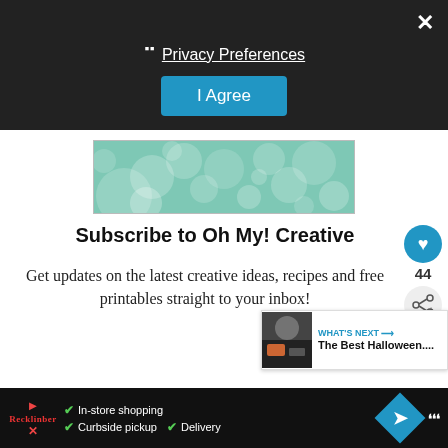×
❯ Privacy Preferences
I Agree
[Figure (illustration): Teal/mint colored banner with overlapping white circles of varying sizes on a green background, used as an advertisement or decorative banner.]
Subscribe to Oh My! Creative
Get updates on the latest creative ideas, recipes and free printables straight to your inbox!
44
[Figure (photo): Small thumbnail image showing Halloween themed content for 'What's Next' recommendation widget.]
WHAT'S NEXT → The Best Halloween....
In-store shopping  Curbside pickup  Delivery